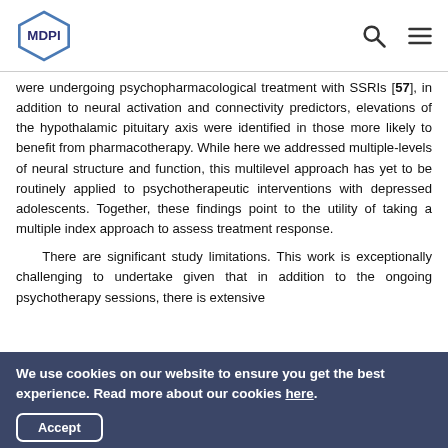MDPI
were undergoing psychopharmacological treatment with SSRIs [57], in addition to neural activation and connectivity predictors, elevations of the hypothalamic pituitary axis were identified in those more likely to benefit from pharmacotherapy. While here we addressed multiple-levels of neural structure and function, this multilevel approach has yet to be routinely applied to psychotherapeutic interventions with depressed adolescents. Together, these findings point to the utility of taking a multiple index approach to assess treatment response.
There are significant study limitations. This work is exceptionally challenging to undertake given that in addition to the ongoing psychotherapy sessions, there is extensive
We use cookies on our website to ensure you get the best experience. Read more about our cookies here.
Accept